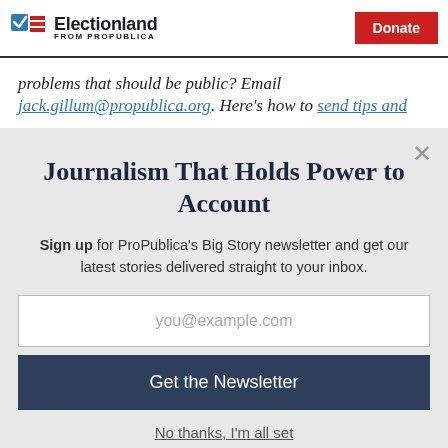Electionland FROM PROPUBLICA | Donate
problems that should be public? Email jack.gillum@propublica.org. Here's how to send tips and
Journalism That Holds Power to Account
Sign up for ProPublica's Big Story newsletter and get our latest stories delivered straight to your inbox.
you@example.com
Get the Newsletter
No thanks, I'm all set
This site is protected by reCAPTCHA and the Google Privacy Policy and Terms of Service apply.